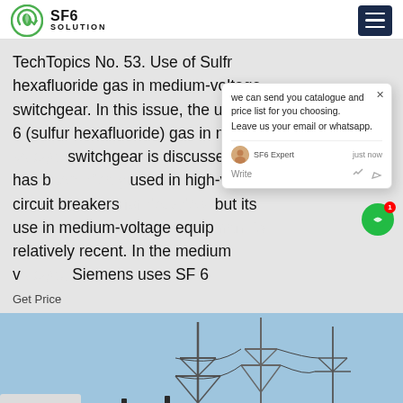SF6 SOLUTION
TechTopics No. 53. Use of Sulfr hexafluoride gas in medium-voltage switchgear. In this issue, the use of SF 6 (sulfur hexafluoride) gas in medium-voltage switchgear is discussed. SF 6 has been widely used in high-voltage circuit breakers, but its use in medium-voltage equipment is relatively recent. In the medium voltage, Siemens uses SF 6
Get Price
[Figure (photo): Electrical substation with transmission towers, power lines, and transformer equipment. A white vehicle/truck is visible in the foreground left.]